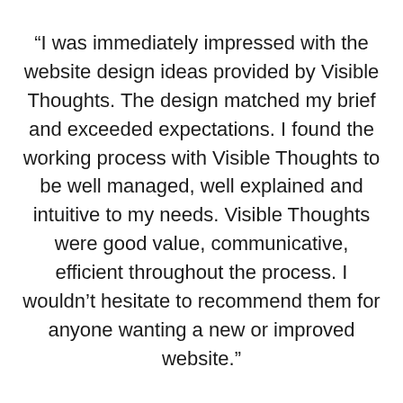“I was immediately impressed with the website design ideas provided by Visible Thoughts. The design matched my brief and exceeded expectations. I found the working process with Visible Thoughts to be well managed, well explained and intuitive to my needs. Visible Thoughts were good value, communicative, efficient throughout the process. I wouldn’t hesitate to recommend them for anyone wanting a new or improved website.”